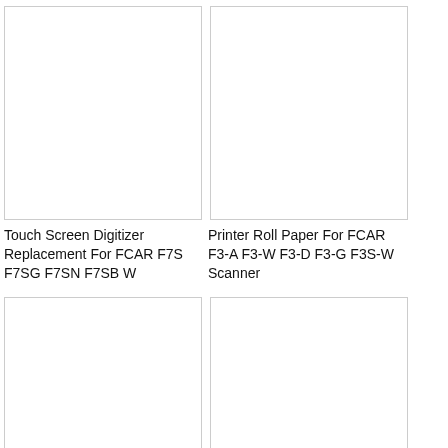[Figure (photo): Product image placeholder - Touch Screen Digitizer Replacement For FCAR F7S F7SG F7SN F7SB W]
[Figure (photo): Product image placeholder - Printer Roll Paper For FCAR F3-A F3-W F3-D F3-G F3S-W Scanner]
Touch Screen Digitizer Replacement For FCAR F7S F7SG F7SN F7SB W
Printer Roll Paper For FCAR F3-A F3-W F3-D F3-G F3S-W Scanner
[Figure (photo): Product image placeholder - bottom left item]
[Figure (photo): Product image placeholder - bottom right item]
0
0